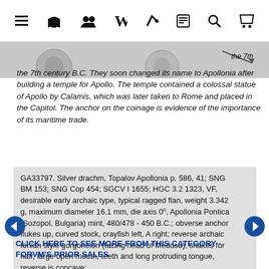Navigation bar with menu, shop, users, Wikipedia, link, document, search, and cart icons
[Figure (photo): Coin images strip showing ancient silver drachm coins (partial view)]
the 7th century B.C. They soon changed its name to Apollonia after building a temple for Apollo. The temple contained a colossal statue of Apollo by Calamis, which was later taken to Rome and placed in the Capitol. The anchor on the coinage is evidence of the importance of its maritime trade.
GA33797. Silver drachm, Topalov Apollonia p. 586, 41; SNG BM 153; SNG Cop 454; SGCV I 1655; HGC 3.2 1323, VF, desirable early archaic type, typical ragged flan, weight 3.342 g, maximum diameter 16.1 mm, die axis 0°, Apollonia Pontica (Sozopol, Bulgaria) mint, 480/478 - 450 B.C.; obverse anchor flukes up, curved stock, crayfish left, A right; reverse archaic Ionian style gorgoneion (facing head of Medusa), snakes for hair, large open mouth, teeth and long protruding tongue, reverse is concave; SOLD
CLICK HERE TO SEE MORE FROM THIS CATEGORY - FORVM's PRIOR SALES